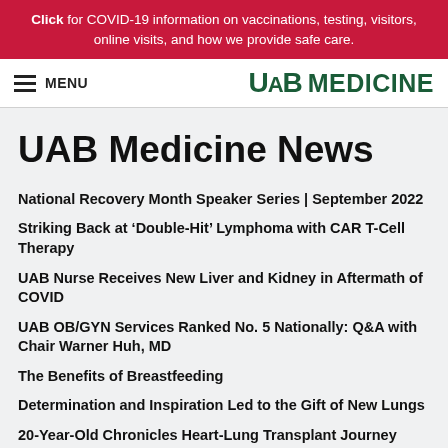Click for COVID-19 information on vaccinations, testing, visitors, online visits, and how we provide safe care.
MENU  UAB MEDICINE
UAB Medicine News
National Recovery Month Speaker Series | September 2022
Striking Back at ‘Double-Hit’ Lymphoma with CAR T-Cell Therapy
UAB Nurse Receives New Liver and Kidney in Aftermath of COVID
UAB OB/GYN Services Ranked No. 5 Nationally: Q&A with Chair Warner Huh, MD
The Benefits of Breastfeeding
Determination and Inspiration Led to the Gift of New Lungs
20-Year-Old Chronicles Heart-Lung Transplant Journey